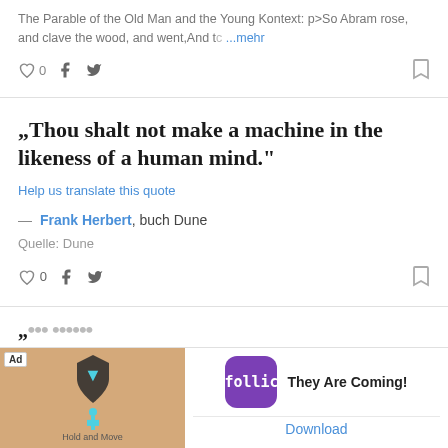The Parable of the Old Man and the Young Kontext: p>So Abram rose, and clave the wood, and went,And t… …mehr
”Thou shalt not make a machine in the likeness of a human mind.“
Help us translate this quote
— Frank Herbert, buch Dune
Quelle: Dune
[Figure (screenshot): Advertisement banner for 'They Are Coming!' game by Rollic, showing a Hold and Move game screenshot on the left and app icon on the right with a Download button.]